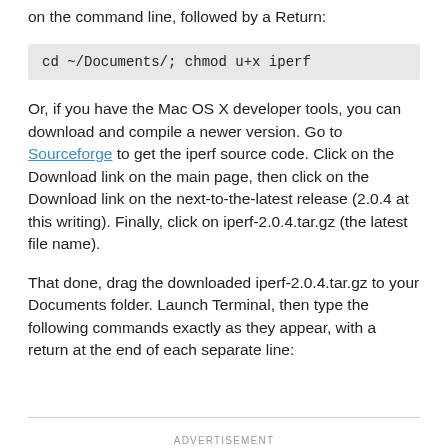on the command line, followed by a Return:
cd ~/Documents/; chmod u+x iperf
Or, if you have the Mac OS X developer tools, you can download and compile a newer version. Go to Sourceforge to get the iperf source code. Click on the Download link on the main page, then click on the Download link on the next-to-the-latest release (2.0.4 at this writing). Finally, click on iperf-2.0.4.tar.gz (the latest file name).
That done, drag the downloaded iperf-2.0.4.tar.gz to your Documents folder. Launch Terminal, then type the following commands exactly as they appear, with a return at the end of each separate line:
ADVERTISEMENT